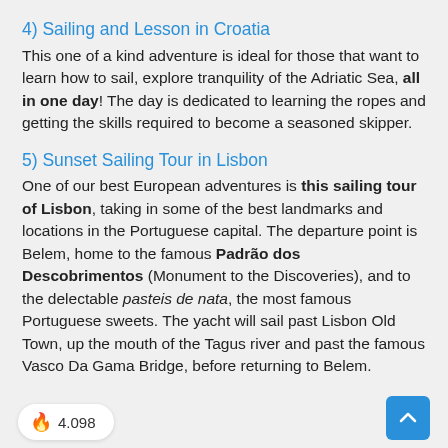4) Sailing and Lesson in Croatia
This one of a kind adventure is ideal for those that want to learn how to sail, explore tranquility of the Adriatic Sea, all in one day! The day is dedicated to learning the ropes and getting the skills required to become a seasoned skipper.
5) Sunset Sailing Tour in Lisbon
One of our best European adventures is this sailing tour of Lisbon, taking in some of the best landmarks and locations in the Portuguese capital. The departure point is Belem, home to the famous Padrão dos Descobrimentos (Monument to the Discoveries), and to the delectable pasteis de nata, the most famous Portuguese sweets. The yacht will sail past Lisbon Old Town, up the mouth of the Tagus river and past the famous Vasco Da Gama Bridge, before returning to Belem.
4.098